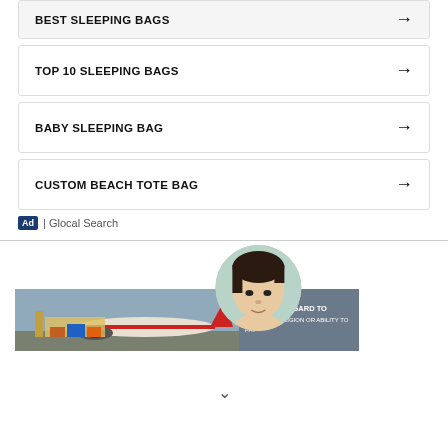BEST SLEEPING BAGS →
TOP 10 SLEEPING BAGS →
BABY SLEEPING BAG →
CUSTOM BEACH TOTE BAG →
Ad | Glocal Search
[Figure (photo): Circular profile photo of a young person with dark hair, partially overlapping a banner advertisement showing a cargo airplane with the text WITHOUT REGARD TO POLITICS, RELIGION OR ABILITY TO PAY]
WITHOUT REGARD TO POLITICS, RELIGION OR ABILITY TO PAY